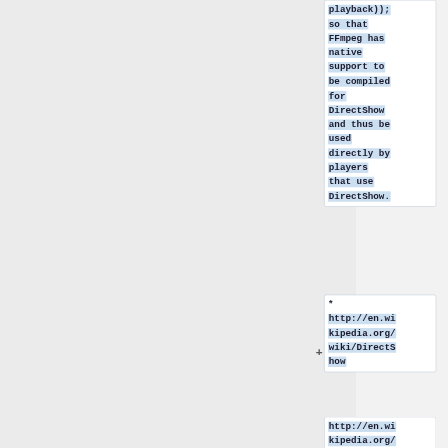playback)); so that FFmpeg has native support to be compiled for DirectShow and thus be used directly by players that use DirectShow.
* http://en.wikipedia.org/wiki/DirectShow
http://en.wikipedia.org/wiki/DirectShow